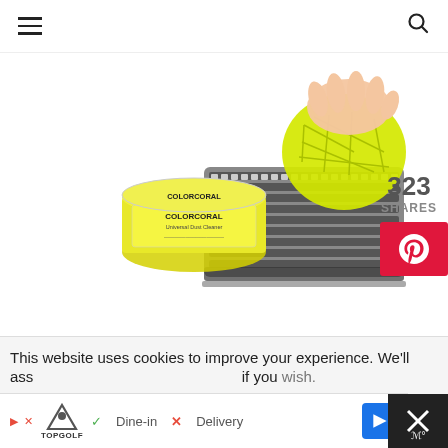Navigation header with hamburger menu and search icon
[Figure (photo): Product photo: A yellow gel cleaning compound (COLORCORAL Universal Dust Cleaner) in a jar, with a hand pressing a yellow textured gel ball onto a keyboard]
323 SHARES
[Figure (other): Pinterest share button (red square with white P icon)]
[Figure (other): Five orange star rating]
Read More Reviews On Amazon
Look for an easy way to clean the little crumbs
This website uses cookies to improve your experience. We'll
ass                                                         if you wish.
[Figure (other): Advertisement bar: Topgolf logo, Dine-in checkmark, Delivery X mark, blue arrow button, and dark overlay with X icon]